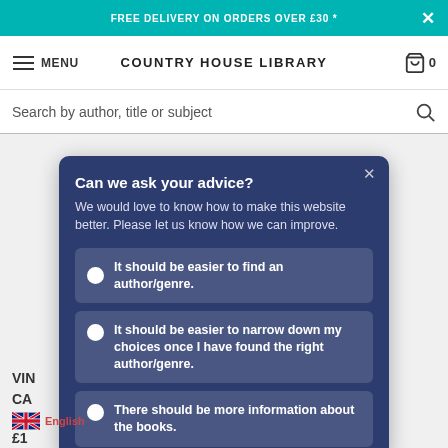FREE DELIVERY ON ORDERS OVER £30 *
COUNTRY HOUSE LIBRARY | MENU | 0
Search by author, title or subject
Can we ask your advice?
We would love to know how to make this website better. Please let us know how we can improve.
It should be easier to find an author/genre.
It should be easier to narrow down my choices once I have found the right author/genre.
There should be more information about the books.
VIN... CA...
£1...
English